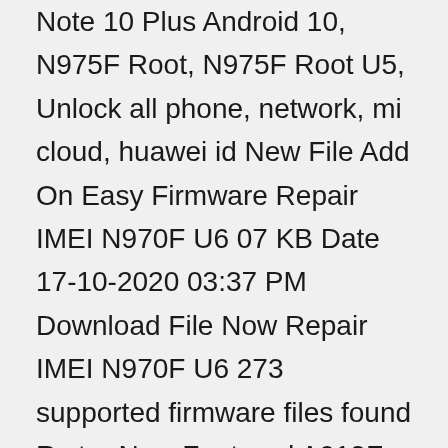Note 10 Plus Android 10, N975F Root, N975F Root U5, Unlock all phone, network, mi cloud, huawei id New File Add On Easy Firmware Repair IMEI N970F U6 07 KB Date 17-10-2020 03:37 PM Download File Now Repair IMEI N970F U6 273 supported firmware files found Rs tar New Featured A013F UnRoot | Date: 18-03-2022 | Size: 9 Finally , after a long time , we're here again , but this time , we're here with : SIM-UNLOCKER PRO 4" edge-to-